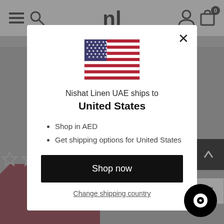[Figure (screenshot): Website navigation bar with hamburger menu, search icon, Nishat Linen logo (nl), user icon, and cart icon with badge showing 0]
[Figure (infographic): Modal dialog popup over a dimmed website background. Contains US flag, text 'Nishat Linen UAE ships to United States', bullet points about AED and shipping options, a black 'Shop now' button, and a 'Change shipping country' link.]
Nishat Linen UAE ships to
United States
Shop in AED
Get shipping options for United States
Shop now
Change shipping country